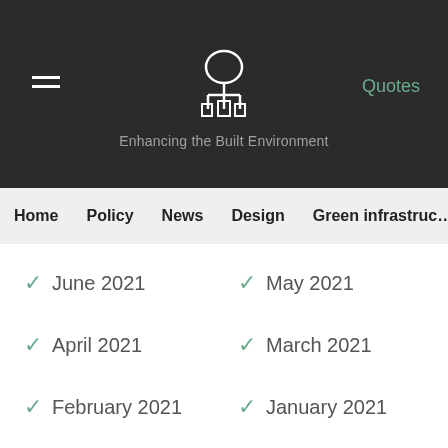Enhancing the Built Environment — Quotes | Home | Policy | News | Design | Green infrastructure
June 2021
May 2021
April 2021
March 2021
February 2021
January 2021
December 2020
November 2020
October 2020
September 2020